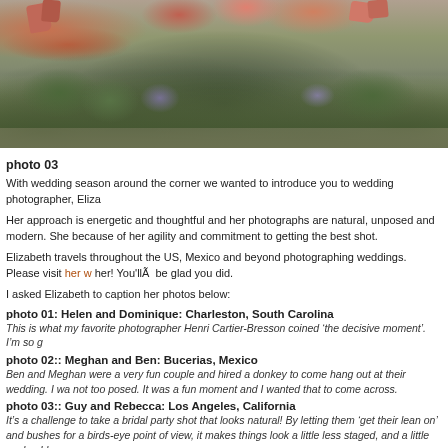[Figure (photo): Outdoor garden/ground scene with plants, dirt path, and colorful shoes visible at top. Natural foliage and purple flowering plants.]
photo 03
With wedding season around the corner we wanted to introduce you to wedding photographer, Eliza
Her approach is energetic and thoughtful and her photographs are natural, unposed and modern. She because of her agility and commitment to getting the best shot.
Elizabeth travels throughout the US, Mexico and beyond photographing weddings. Please visit her w her! You'llÂ  be glad you did.
I asked Elizabeth to caption her photos below:
photo 01: Helen and Dominique: Charleston, South Carolina
This is what my favorite photographer Henri Cartier-Bresson coined ‘the decisive moment’. I’m so g
photo 02:: Meghan and Ben: Bucerias, Mexico
Ben and Meghan were a very fun couple and hired a donkey to come hang out at their wedding. I wa not too posed. It was a fun moment and I wanted that to come across.
photo 03:: Guy and Rebecca: Los Angeles, California
It’s a challenge to take a bridal party shot that looks natural! By letting them ‘get their lean on’ and bushes for a birds-eye point of view, it makes things look a little less staged, and a little cooler. I l